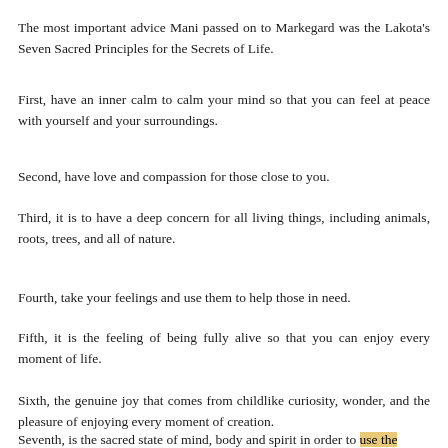The most important advice Mani passed on to Markegard was the Lakota's Seven Sacred Principles for the Secrets of Life.
First, have an inner calm to calm your mind so that you can feel at peace with yourself and your surroundings.
Second, have love and compassion for those close to you.
Third, it is to have a deep concern for all living things, including animals, roots, trees, and all of nature.
Fourth, take your feelings and use them to help those in need.
Fifth, it is the feeling of being fully alive so that you can enjoy every moment of life.
Sixth, the genuine joy that comes from childlike curiosity, wonder, and the pleasure of enjoying every moment of creation.
Seventh, is the sacred state of mind, body and spirit in order to use the